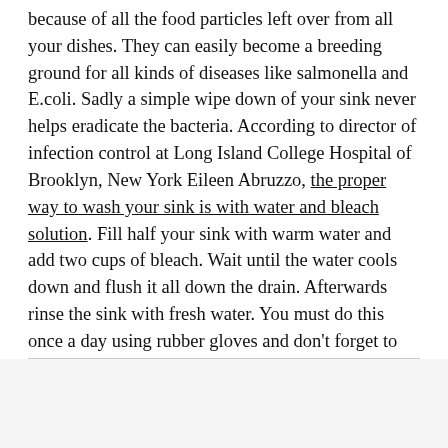because of all the food particles left over from all your dishes. They can easily become a breeding ground for all kinds of diseases like salmonella and E.coli. Sadly a simple wipe down of your sink never helps eradicate the bacteria. According to director of infection control at Long Island College Hospital of Brooklyn, New York Eileen Abruzzo, the proper way to wash your sink is with water and bleach solution. Fill half your sink with warm water and add two cups of bleach. Wait until the water cools down and flush it all down the drain. Afterwards rinse the sink with fresh water. You must do this once a day using rubber gloves and don't forget to clean the drain plug as well.
Advertisements